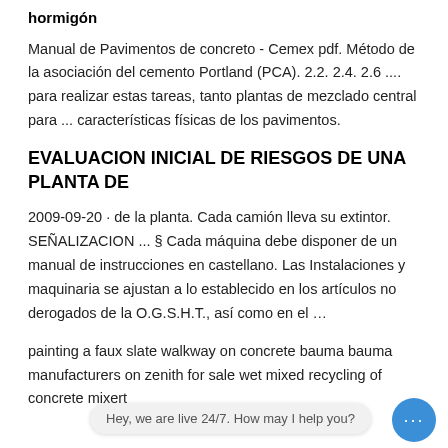hormigón
Manual de Pavimentos de concreto - Cemex pdf. Método de la asociación del cemento Portland (PCA). 2.2. 2.4. 2.6 .... para realizar estas tareas, tanto plantas de mezclado central para ... características físicas de los pavimentos.
EVALUACION INICIAL DE RIESGOS DE UNA PLANTA DE
2009-09-20 · de la planta. Cada camión lleva su extintor. SEÑALIZACION ... § Cada máquina debe disponer de un manual de instrucciones en castellano. Las Instalaciones y maquinaria se ajustan a lo establecido en los artículos no derogados de la O.G.S.H.T., así como en el ...
painting a faux slate walkway on concrete bauma bauma manufacturers on zenith for sale wet mixed recycling of concrete mixert
Hey, we are live 24/7. How may I help you?